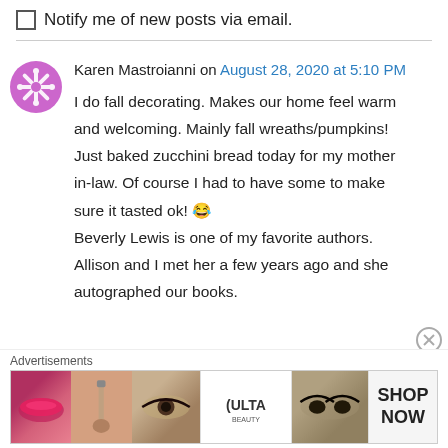Notify me of new posts via email.
Karen Mastroianni on August 28, 2020 at 5:10 PM
I do fall decorating. Makes our home feel warm and welcoming. Mainly fall wreaths/pumpkins! Just baked zucchini bread today for my mother in-law. Of course I had to have some to make sure it tasted ok! 😂 Beverly Lewis is one of my favorite authors. Allison and I met her a few years ago and she autographed our books.
Advertisements
[Figure (photo): Ulta Beauty advertisement banner showing cosmetic close-up images and SHOP NOW call to action]